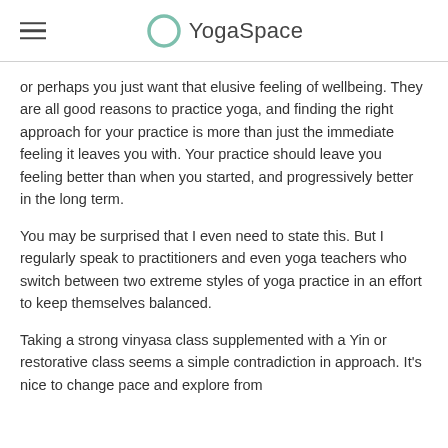YogaSpace
or perhaps you just want that elusive feeling of wellbeing. They are all good reasons to practice yoga, and finding the right approach for your practice is more than just the immediate feeling it leaves you with. Your practice should leave you feeling better than when you started, and progressively better in the long term.
You may be surprised that I even need to state this. But I regularly speak to practitioners and even yoga teachers who switch between two extreme styles of yoga practice in an effort to keep themselves balanced.
Taking a strong vinyasa class supplemented with a Yin or restorative class seems a simple contradiction in approach. It's nice to change pace and explore from